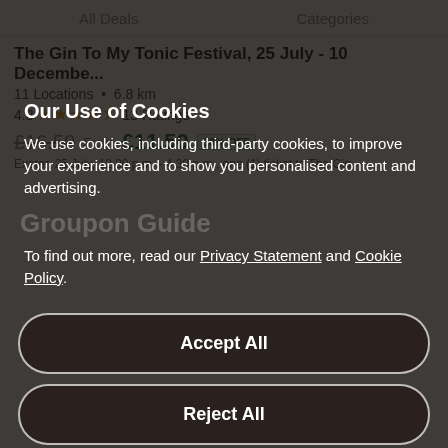All Deals   Categories
The Gin To My Tonic Festival, 25 July - 10 Decembe...
11 Locations • 6.8 km
4.8 ★★★★½ 13 Ratings
£16.50  From £11.50  30% OFF
Exeter, 25 July, 12.30 p.m. - 4.30 p.m., one (1) ticket to The Gin
Our Use of Cookies
We use cookies, including third-party cookies, to improve your experience and to show you personalised content and advertising.
Groupon Guide
To find out more, read our Privacy Statement and Cookie Policy.
Accept All
Reject All
My Options